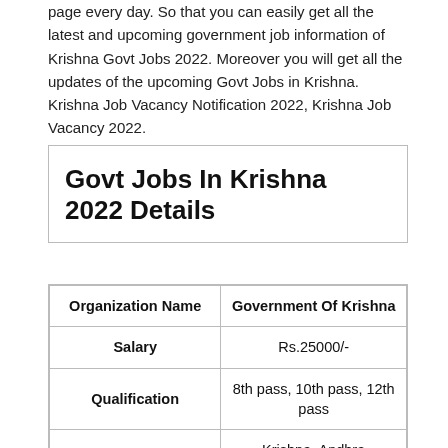page every day. So that you can easily get all the latest and upcoming government job information of Krishna Govt Jobs 2022. Moreover you will get all the updates of the upcoming Govt Jobs in Krishna. Krishna Job Vacancy Notification 2022, Krishna Job Vacancy 2022.
Govt Jobs In Krishna 2022 Details
| Organization Name | Government Of Krishna |
| --- | --- |
| Salary | Rs.25000/- |
| Qualification | 8th pass, 10th pass, 12th pass |
| Address | Krishna, Andhra Pradesh, India |